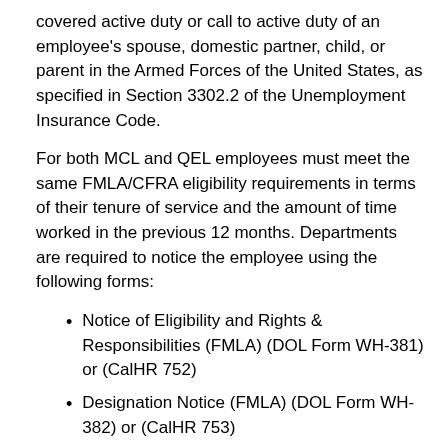covered active duty or call to active duty of an employee's spouse, domestic partner, child, or parent in the Armed Forces of the United States, as specified in Section 3302.2 of the Unemployment Insurance Code.
For both MCL and QEL employees must meet the same FMLA/CFRA eligibility requirements in terms of their tenure of service and the amount of time worked in the previous 12 months. Departments are required to notice the employee using the following forms:
Notice of Eligibility and Rights & Responsibilities (FMLA) (DOL Form WH-381) or (CalHR 752)
Designation Notice (FMLA) (DOL Form WH-382) or (CalHR 753)
These forms notify employees of their eligibility and determination for MCL and QEL leave. The Notice of Eligibility and Rights & Responsibilities form must be given to the employee within five business days after the employer receives a request for leave, or becomes aware of the need for